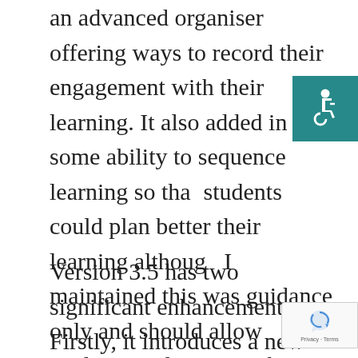an advanced organiser offering ways to record their engagement with their learning. It also added in some ability to sequence learning so that students could plan better their learning although I maintained this was guidance only and should allow students to determine their own pathways for learning.
Version 3.5 has two significant enhancements. Firstly, it introduces a new dimension, providing a rich visualization of the learning spaces and tools that students are to engage with in their learning. This provides an alternative, fine-grain, view of the students modes of engagement in their learning. It permits the designer to plan only for a balance of learning engagement but